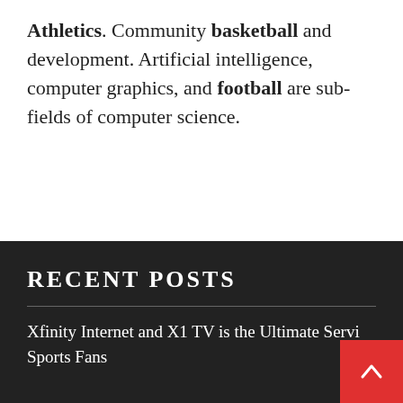Athletics. Community basketball and development. Artificial intelligence, computer graphics, and football are sub-fields of computer science.
RECENT POSTS
Xfinity Internet and X1 TV is the Ultimate Servi… Sports Fans